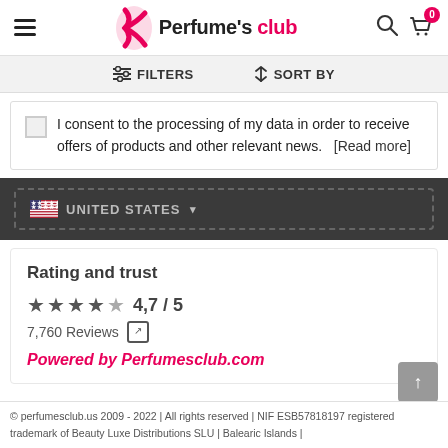Perfume's club
FILTERS   SORT BY
I consent to the processing of my data in order to receive offers of products and other relevant news.   [Read more]
UNITED STATES
Rating and trust
4,7 / 5
7,760 Reviews
Powered by Perfumesclub.com
© perfumesclub.us 2009 - 2022 | All rights reserved | NIF ESB57818197 registered trademark of Beauty Luxe Distributions SLU | Balearic Islands |